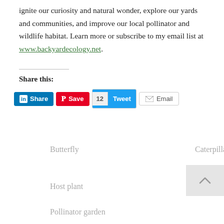ignite our curiosity and natural wonder, explore our yards and communities, and improve our local pollinator and wildlife habitat. Learn more or subscribe to my email list at www.backyardecology.net.
Share this:
[Figure (screenshot): Social sharing buttons: LinkedIn Share (blue), Pinterest Save (red), Tweet with count of 12 (blue), Email (white/grey outline)]
Butterfly
Caterpillar
Host plant
Native plant
Pollinator garden